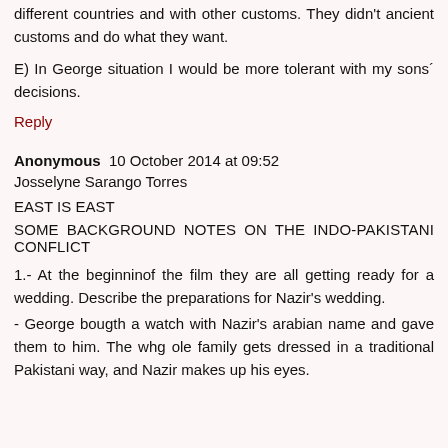different countries and with other customs. They didn't ancient customs and do what they want.
E) In George situation I would be more tolerant with my sons´ decisions.
Reply
Anonymous  10 October 2014 at 09:52
Josselyne Sarango Torres
EAST IS EAST
SOME BACKGROUND NOTES ON THE INDO-PAKISTANI CONFLICT
1.- At the beginninof the film they are all getting ready for a wedding. Describe the preparations for Nazir's wedding.
- George bougth a watch with Nazir's arabian name and gave them to him. The whg ole family gets dressed in a traditional Pakistani way, and Nazir makes up his eyes.